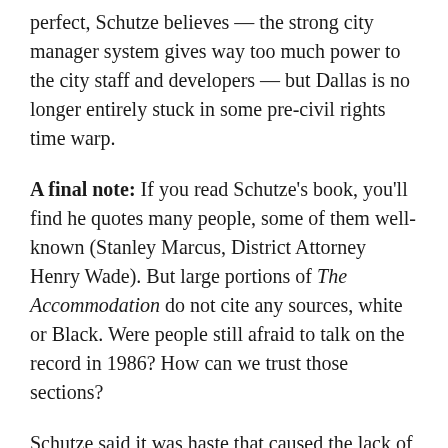perfect, Schutze believes — the strong city manager system gives way too much power to the city staff and developers — but Dallas is no longer entirely stuck in some pre-civil rights time warp.
A final note: If you read Schutze's book, you'll find he quotes many people, some of them well-known (Stanley Marcus, District Attorney Henry Wade). But large portions of The Accommodation do not cite any sources, white or Black. Were people still afraid to talk on the record in 1986? How can we trust those sections?
Schutze said it was haste that caused the lack of footnotes or a list of sources. A major reason The Accommodation became such a seemingly 'underground,' contraband work was its bungled release. According to the author, Taylor Publishing was feeling pressure against releasing such an 'anti-Dallas' book and told him